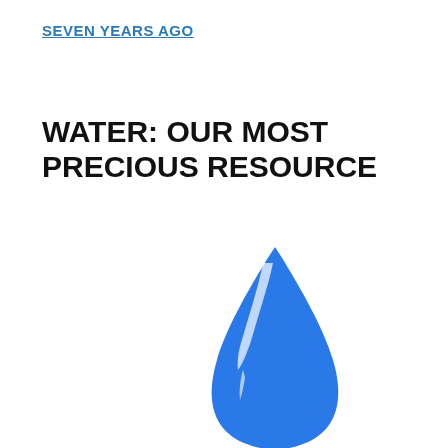SEVEN YEARS AGO
WATER: OUR MOST PRECIOUS RESOURCE
[Figure (illustration): A large blue water droplet illustration, showing a stylized teardrop shape with a white highlight streak running diagonally across it. The droplet is centered horizontally and occupies the lower half of the page.]